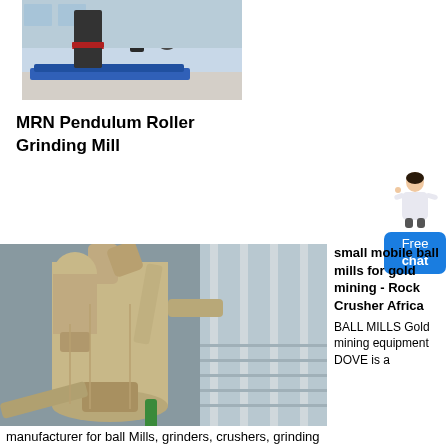[Figure (photo): Industrial grinding mill machinery in a factory setting, showing large vertical cylindrical equipment on a blue platform.]
MRN Pendulum Roller Grinding Mill
[Figure (photo): A beige/tan colored industrial ball mill or grinding mill inside a factory, with large pipes and cyclone separators visible.]
small mobile ball mills for gold mining - Rock Crusher Africa
BALL MILLS Gold mining equipment DOVE is a manufacturer for ball Mills, grinders, crushers, grinding